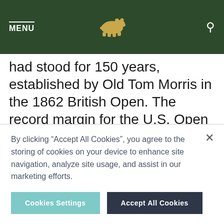MENU [bear logo] [search icon]
had stood for 150 years, established by Old Tom Morris in the 1862 British Open. The record margin for the U.S. Open had been 11 strokes by Willie Smith in 1899. In The Masters, Woods broke the
By clicking “Accept All Cookies”, you agree to the storing of cookies on your device to enhance site navigation, analyze site usage, and assist in our marketing efforts.
Cookies Settings  Accept All Cookies